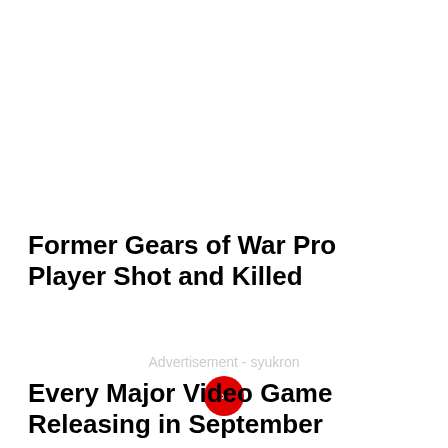Former Gears of War Pro Player Shot and Killed
[Figure (other): Advertisement placeholder with red circle close button and text 'Advertisement - syukron']
Every Major Video Game Releasing in September